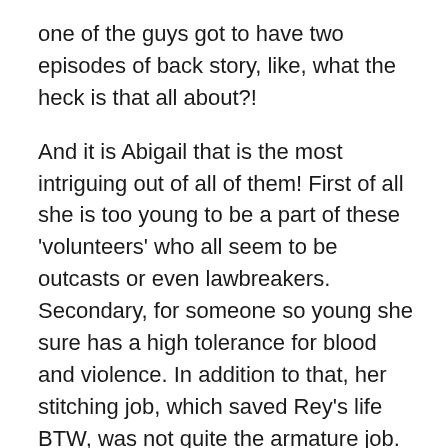one of the guys got to have two episodes of back story, like, what the heck is that all about?!
And it is Abigail that is the most intriguing out of all of them! First of all she is too young to be a part of these 'volunteers' who all seem to be outcasts or even lawbreakers. Secondary, for someone so young she sure has a high tolerance for blood and violence. In addition to that, her stitching job, which saved Rey's life BTW, was not quite the armature job. Heck, even the Doctor looked impressed! She is also too nice! Not only does she know how to cook too, but she would serve every person their food like she was the chef of the ship or something! Think Neelix from Star Trek Voyager!
Like she is the most mysterious character here and we know nothing about her outside of ORIGIN! I am pretty